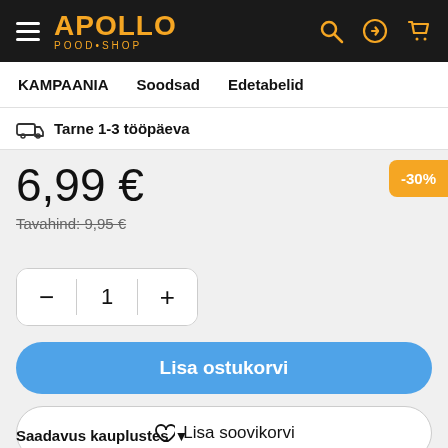APOLLO POOD·SHOP
KAMPAANIA   Soodsad   Edetabelid
Tarne 1-3 tööpäeva
6,99 €
Tavahind: 9,95 €
-30%
1
Lisa ostukorvi
Lisa soovikorvi
Saadavus kauplustes ▼